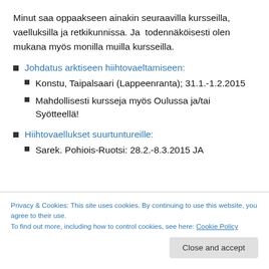Minut saa oppaakseen ainakin seuraavilla kursseilla, vaelluksilla ja retkikunnissa. Ja  todennäköisesti olen mukana myös monilla muilla kursseilla.
Johdatus arktiseen hiihtovaeltamiseen:
Konstu, Taipalsaari (Lappeenranta); 31.1.-1.2.2015
Mahdollisesti kursseja myös Oulussa ja/tai Syötteellä!
Hiihtovaellukset suurtuntureille:
Sarek. Pohiois-Ruotsi: 28.2.-8.3.2015 JA
Privacy & Cookies: This site uses cookies. By continuing to use this website, you agree to their use. To find out more, including how to control cookies, see here: Cookie Policy
Spitsbergen, Huippuvuoret; 1.4.-24.4.2015